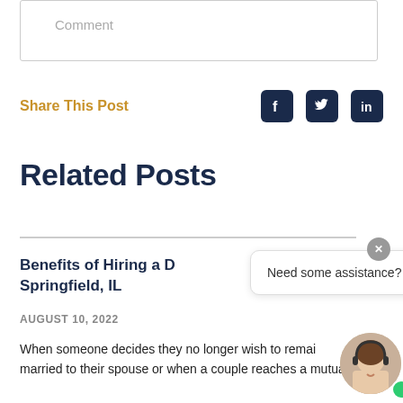Comment
Share This Post
Related Posts
Benefits of Hiring a D... Springfield, IL
AUGUST 10, 2022
When someone decides they no longer wish to remain married to their spouse or when a couple reaches a mutual